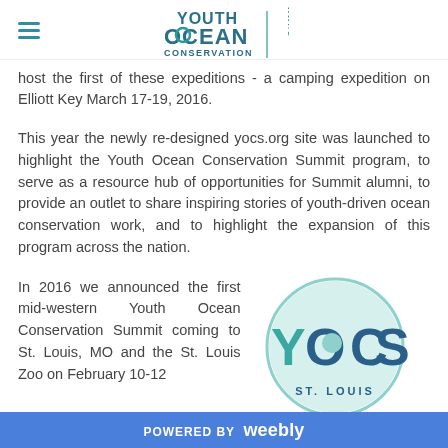[Figure (logo): Youth Ocean Conservation Summit logo with hamburger menu icon on the left]
host the first of these expeditions - a camping expedition on Elliott Key March 17-19, 2016.
This year the newly re-designed yocs.org site was launched to highlight the Youth Ocean Conservation Summit program, to serve as a resource hub of opportunities for Summit alumni, to provide an outlet to share inspiring stories of youth-driven ocean conservation work, and to highlight the expansion of this program across the nation.
In 2016 we announced the first mid-western Youth Ocean Conservation Summit coming to St. Louis, MO and the St. Louis Zoo on February 10-12
[Figure (logo): YOCS St. Louis circular logo with teal circle border and YOCS text inside]
POWERED BY weebly